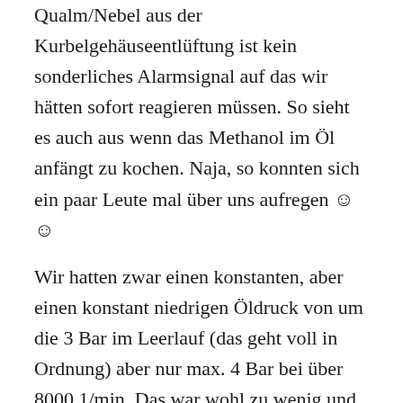Qualm/Nebel aus der Kurbelgehäuseentlüftung ist kein sonderliches Alarmsignal auf das wir hätten sofort reagieren müssen. So sieht es auch aus wenn das Methanol im Öl anfängt zu kochen. Naja, so konnten sich ein paar Leute mal über uns aufregen ☺ ☺
Wir hatten zwar einen konstanten, aber einen konstant niedrigen Öldruck von um die 3 Bar im Leerlauf (das geht voll in Ordnung) aber nur max. 4 Bar bei über 8000 1/min. Das war wohl zu wenig und erklärt vielleicht auch warum die Hauptlager noch ganz gut aussehen und die schwieriger zu versorgenden Pleuellager festgegangen sind. Bevor ich mich jetzt aber abschließend festlege möchte ich mir noch sicherer werden. Das der Öldruck mit der Drehzahl nicht